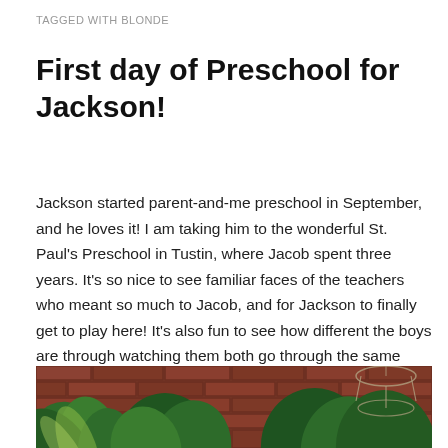TAGGED WITH BLONDE
First day of Preschool for Jackson!
Jackson started parent-and-me preschool in September, and he loves it! I am taking him to the wonderful St. Paul's Preschool in Tustin, where Jacob spent three years. It's so nice to see familiar faces of the teachers who meant so much to Jacob, and for Jackson to finally get to play here! It's also fun to see how different the boys are through watching them both go through the same program.
[Figure (photo): Photo of green tropical plants growing against a red brick wall with a hanging wire basket visible in the upper right]